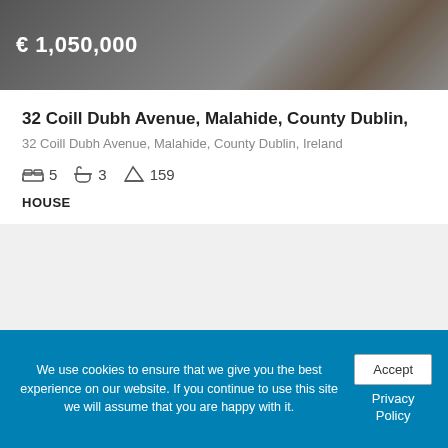[Figure (photo): Top portion of a property listing image showing a house exterior with dark overlay and price text '€ 1,050,000' in white]
32 Coill Dubh Avenue, Malahide, County Dublin,
32 Coill Dubh Avenue, Malahide, County Dublin, Ireland
🛏 5  🚿 3  📐 159
HOUSE
Darren Kelly
[Figure (photo): Property exterior photo showing a house under blue sky with white clouds and green trees on the right, with a FOR SALE badge]
We use cookies to ensure that we give you the best experience on our website. If you continue to use this site we will assume that you are happy with it.